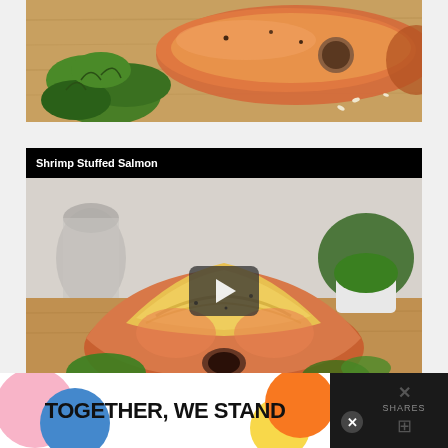[Figure (photo): Close-up photo of stuffed salmon rolls on a wooden cutting board with fresh green herbs/parsley]
[Figure (screenshot): Video thumbnail for 'Shrimp Stuffed Salmon' showing a baked stuffed salmon fillet on a wooden board with herbs and a metal pitcher in background, with a play button overlay and dark title bar]
Shrimp Stuffed Salmon
[Figure (photo): Advertisement banner reading 'TOGETHER, WE STAND' with colorful blob shapes on white background, with close button (X) and shares counter on right]